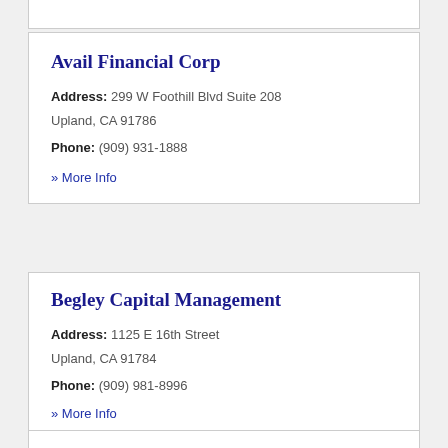Avail Financial Corp
Address: 299 W Foothill Blvd Suite 208
Upland, CA 91786
Phone: (909) 931-1888
» More Info
Begley Capital Management
Address: 1125 E 16th Street
Upland, CA 91784
Phone: (909) 981-8996
» More Info